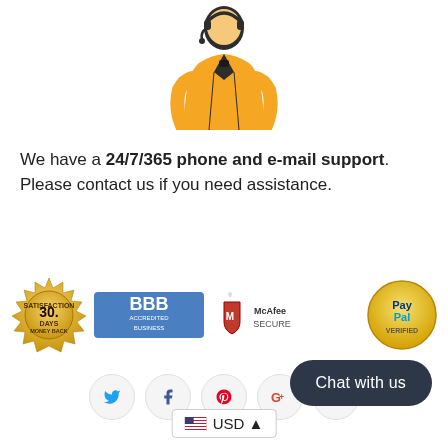[Figure (illustration): Customer support agent icon: person wearing orange shirt and headset with microphone]
We have a 24/7/365 phone and e-mail support. Please contact us if you need assistance.
[Figure (infographic): Trust badges row: 30 Days Money Back guarantee seal, BBB Accredited Business badge, McAfee Secure badge, PayPal Verified badge]
[Figure (infographic): Social media icons row: Twitter, Facebook, Pinterest, Google+, Email]
Chat with us
USD